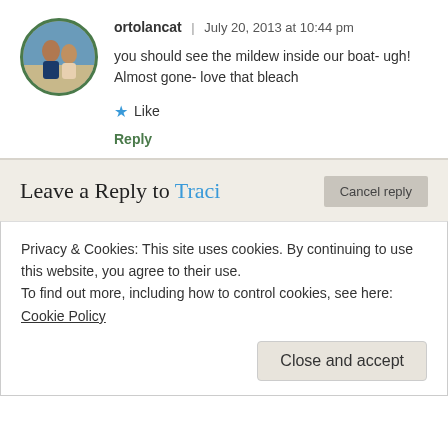[Figure (photo): Circular avatar photo of two people, framed with a green border circle]
ortolancat | July 20, 2013 at 10:44 pm
you should see the mildew inside our boat- ugh! Almost gone- love that bleach
★ Like
Reply
Leave a Reply to Traci
Cancel reply
Privacy & Cookies: This site uses cookies. By continuing to use this website, you agree to their use.
To find out more, including how to control cookies, see here: Cookie Policy
Close and accept